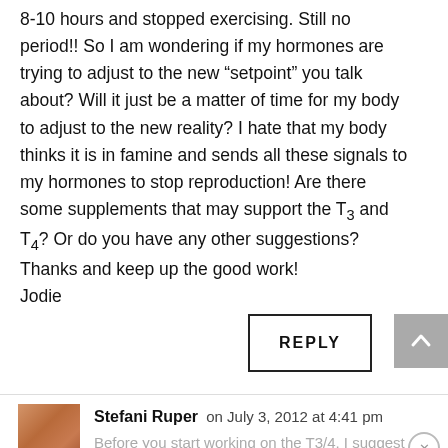8-10 hours and stopped exercising. Still no period!! So I am wondering if my hormones are trying to adjust to the new “setpoint” you talk about? Will it just be a matter of time for my body to adjust to the new reality? I hate that my body thinks it is in famine and sends all these signals to my hormones to stop reproduction! Are there some supplements that may support the T3 and T4? Or do you have any other suggestions? Thanks and keep up the good work! Jodie
REPLY
Stefani Ruper on July 3, 2012 at 4:41 pm
Before you start working on the T3/4, I suggest getting bloodwork done. If the